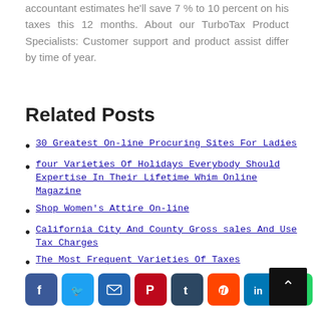accountant estimates he'll save 7 % to 10 percent on his taxes this 12 months. About our TurboTax Product Specialists: Customer support and product assist differ by time of year.
Related Posts
30 Greatest On-line Procuring Sites For Ladies
four Varieties Of Holidays Everybody Should Expertise In Their Lifetime Whim Online Magazine
Shop Women's Attire On-line
California City And County Gross sales And Use Tax Charges
The Most Frequent Varieties Of Taxes
[Figure (infographic): Social media share buttons: Facebook, Twitter, Email, Pinterest, Tumblr, Reddit, LinkedIn, WhatsApp, Blogger, and a scroll-to-top button]